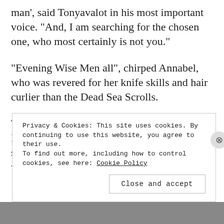man’, said Tonyavalot in his most important voice. “And, I am searching for the chosen one, who most certainly is not you.”
“Evening Wise Men all”, chirped Annabel, who was revered for her knife skills and hair curlier than the Dead Sea Scrolls.
Tonyavalot turned to her. “What hast you, fair lady in the basket? Is it a gift for the risen son? For we too have brought gifts for the wonder child who will help me inherit the
Privacy & Cookies: This site uses cookies. By continuing to use this website, you agree to their use.
To find out more, including how to control cookies, see here: Cookie Policy